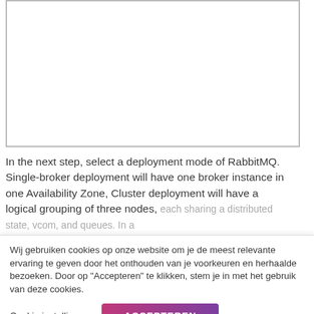[Figure (screenshot): White empty box area at the top of the page, likely a screenshot placeholder with grey border]
In the next step, select a deployment mode of RabbitMQ. Single-broker deployment will have one broker instance in one Availability Zone, Cluster deployment will have a logical grouping of three nodes, each sharing a distributed state, vcom, and queues. In a
Wij gebruiken cookies op onze website om je de meest relevante ervaring te geven door het onthouden van je voorkeuren en herhaalde bezoeken. Door op "Accepteren" te klikken, stem je in met het gebruik van deze cookies.
Cookie instellingen
ACCEPTEREN